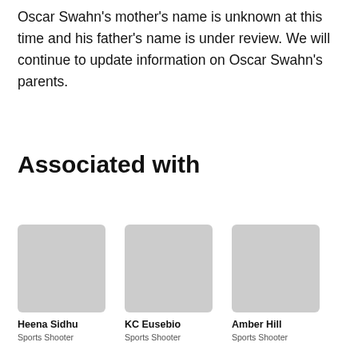Oscar Swahn's mother's name is unknown at this time and his father's name is under review. We will continue to update information on Oscar Swahn's parents.
Associated with
[Figure (photo): Photo placeholder for Heena Sidhu]
Heena Sidhu
Sports Shooter
[Figure (photo): Photo placeholder for KC Eusebio]
KC Eusebio
Sports Shooter
[Figure (photo): Photo placeholder for Amber Hill]
Amber Hill
Sports Shooter